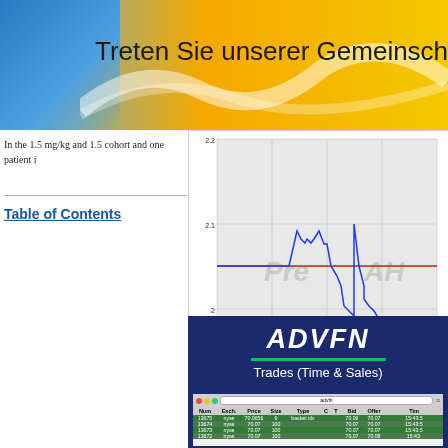Treten Sie unserer Gemeinsche
In the 1.5 mg/kg and 1.5 cohort and one patient i
Table of Contents
[Figure (continuous-plot): Stock price chart showing intraday trading from approximately 1100 to 2300 on x-axis, price range 2.0 to 2.2 on y-axis, with blue line chart and red horizontal reference line. Labels 'Pre' and 'AH' visible as watermarks. Source: (c) www.advfn.com]
Waterfall Plot for ACE-BRE
[Figure (screenshot): ADVFN Trades (Time & Sales) screenshot showing a table with columns: Num, Exch., Price, Size, Type, C, T, Bid, Offer, Tim. Rows include trades 13675, 13674, 13673, 13672 on NYSE at prices around 70.06-70.07.]